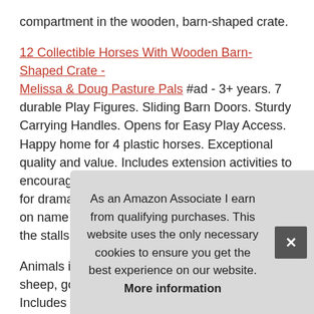compartment in the wooden, barn-shaped crate.
12 Collectible Horses With Wooden Barn-Shaped Crate - Melissa & Doug Pasture Pals #ad - 3+ years. 7 durable Play Figures. Sliding Barn Doors. Sturdy Carrying Handles. Opens for Easy Play Access. Happy home for 4 plastic horses. Exceptional quality and value. Includes extension activities to encourage creative play and learning. Favorites for dramatic play. 9. 5"h x 13"l x 7. 25"w. Write-on name tags let kids name the horses and label the stalls.
Animals include horse, donkey, chicken, rooster, sheep, goat, cow, duck, pig, border Collie. Includes fun facts about each animal. Wide variety of horses available. Features colorful for e
Mor
As an Amazon Associate I earn from qualifying purchases. This website uses the only necessary cookies to ensure you get the best experience on our website. More information